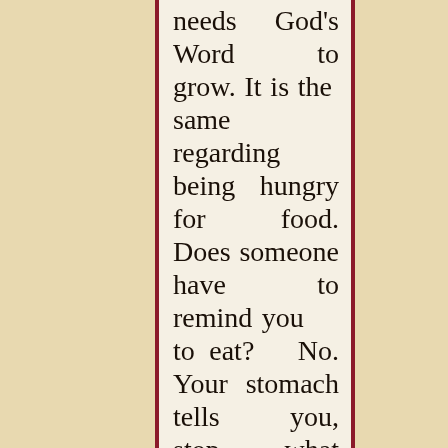needs God's Word to grow. It is the same regarding being hungry for food. Does someone have to remind you to eat? No. Your stomach tells you, stop what you are doing and eat—I'm